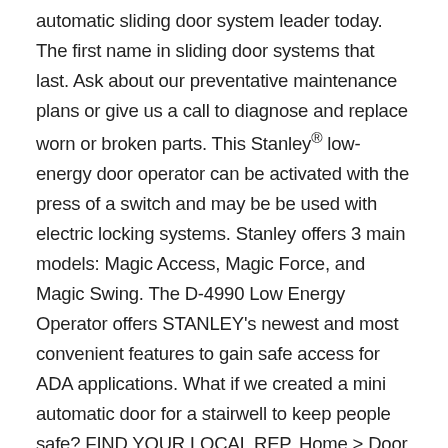automatic sliding door system leader today. The first name in sliding door systems that last. Ask about our preventative maintenance plans or give us a call to diagnose and replace worn or broken parts. This Stanley® low-energy door operator can be activated with the press of a switch and may be be used with electric locking systems. Stanley offers 3 main models: Magic Access, Magic Force, and Magic Swing. The D-4990 Low Energy Operator offers STANLEY's newest and most convenient features to gain safe access for ADA applications. What if we created a mini automatic door for a stairwell to keep people safe? FIND YOUR LOCAL REP. Home > Door Closers > Automatic Door Openers > Parts > Stanley. STANLEY Access Technologies proudly manufactures, installs, and services an extensive portfolio of manual and automatic door solutions. how to troubleshoot your STANLEY Dura-Glide 2000 and 3000